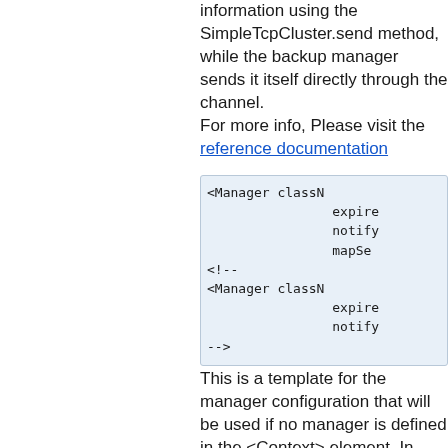information using the SimpleTcpCluster.send method, while the backup manager sends it itself directly through the channel.
For more info, Please visit the reference documentation
[Figure (screenshot): Code block showing XML Manager configuration with <Manager classN... expire... notify... mapSe... <!-- <Manager classN... expire... notify... -->]
This is a template for the manager configuration that will be used if no manager is defined in the <Context> element. In Tomcat 5.x each webapp marked distributable had to use the same manager,